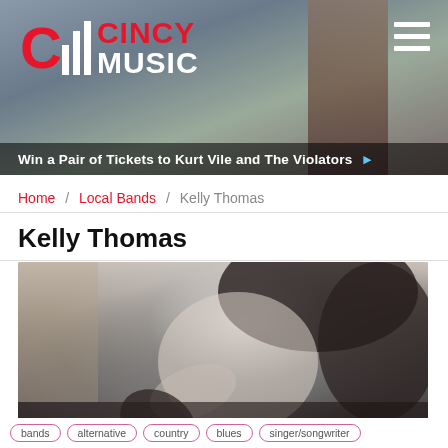CINCY MUSIC — Win a Pair of Tickets to Kurt Vile and The Violators
Home / Local Bands / Kelly Thomas
Kelly Thomas
[Figure (photo): Black and white portrait photo of Kelly Thomas looking upward with hand in hair]
bands / alternative / country / blues / singer/songwriter